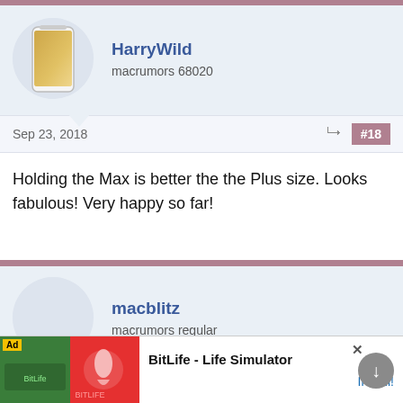HarrWild
macrumors 68020
Sep 23, 2018
#18
Holding the Max is better the the Plus size. Looks fabulous! Very happy so far!
macblitz
macrumors regular
Sep 23, 2018
[Figure (screenshot): Ad banner for BitLife - Life Simulator app with Install button]